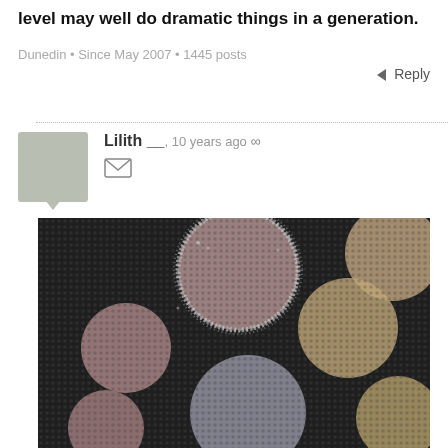level may well do dramatic things in a generation.
Dunedin • Since May 2007 • 1445 posts
Reply
Lilith __, 10 years ago ∞
[Figure (photo): Close-up photograph of a black sequined fabric with circular polka-dot cutouts or patches in muted pink, mauve, and beige/tan tones, surrounded by sparkling silver sequin trim.]